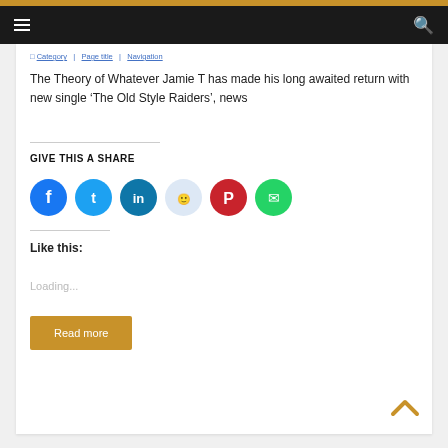Navigation bar with hamburger menu and search icon
The Theory of Whatever Jamie T has made his long awaited return with new single ‘The Old Style Raiders’, news
GIVE THIS A SHARE
[Figure (infographic): Social media share buttons: Facebook (blue), Twitter (cyan), LinkedIn (dark teal), Reddit (light blue), Pinterest (red), WhatsApp (green)]
Like this:
Loading...
Read more